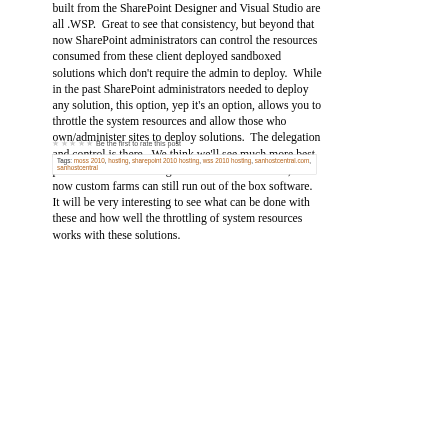built from the SharePoint Designer and Visual Studio are all .WSP.  Great to see that consistency, but beyond that now SharePoint administrators can control the resources consumed from these client deployed sandboxed solutions which don't require the admin to deploy.  While in the past SharePoint administrators needed to deploy any solution, this option, yep it's an option, allows you to throttle the system resources and allow those who own/administer sites to deploy solutions.  The delegation and control is there.  We think we'll see much more best practices from more usage of sandboxed solutions, but now custom farms can still run out of the box software.  It will be very interesting to see what can be done with these and how well the throttling of system resources works with these solutions.
★★★★★ Be the first to rate this post
Tags: moss 2010, hosting, sharepoint 2010 hosting, wss 2010 hosting, sanhostcentral.com, sanhostcentral